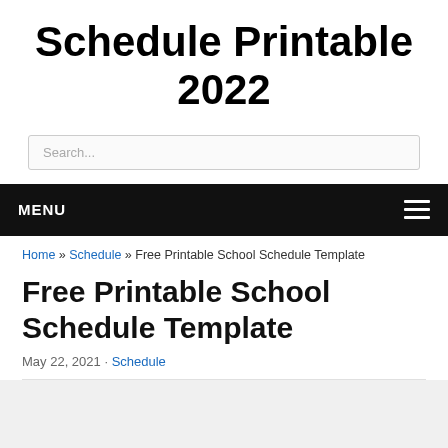Schedule Printable 2022
Search...
MENU
Home » Schedule » Free Printable School Schedule Template
Free Printable School Schedule Template
May 22, 2021 · Schedule